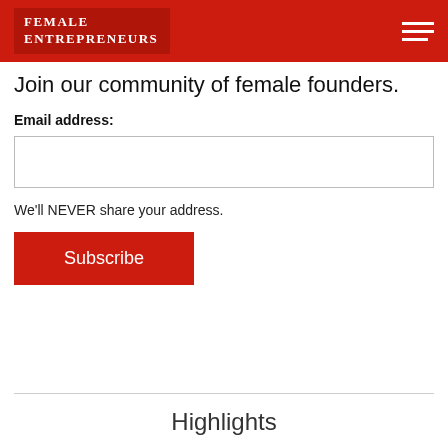Female Entrepreneurs
Join our community of female founders.
Email address:
We'll NEVER share your address.
Subscribe
Highlights